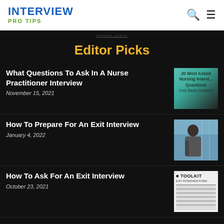INTERVIEW PRO TIPS
Editor Picks
What Questions To Ask In A Nurse Practitioner Interview
November 15, 2021
[Figure (photo): Thumbnail showing text: 20 Most Asked Nursing Interview Questions And Best Answers on a teal background]
How To Prepare For An Exit Interview
January 4, 2022
[Figure (photo): Thumbnail showing a woman in professional attire looking out a window]
How To Ask For An Exit Interview
October 23, 2021
[Figure (other): Thumbnail showing a toolkit document with text EXIT INTERVIEW FORM and various lines of text]